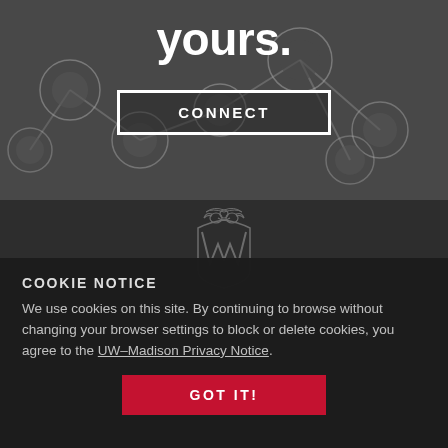yours.
CONNECT
[Figure (logo): UW-Madison decorative crest/logo in outline style, grey on dark background]
COOKIE NOTICE
We use cookies on this site. By continuing to browse without changing your browser settings to block or delete cookies, you agree to the UW–Madison Privacy Notice.
GOT IT!